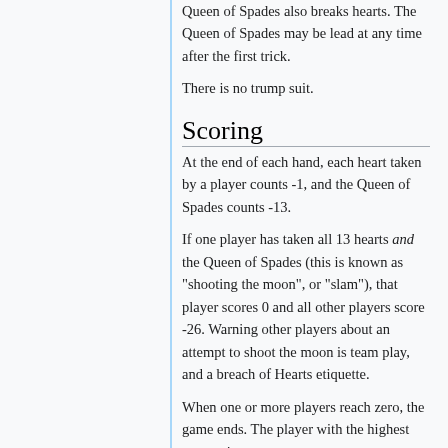Queen of Spades also breaks hearts. The Queen of Spades may be lead at any time after the first trick.
There is no trump suit.
Scoring
At the end of each hand, each heart taken by a player counts -1, and the Queen of Spades counts -13.
If one player has taken all 13 hearts and the Queen of Spades (this is known as "shooting the moon", or "slam"), that player scores 0 and all other players score -26. Warning other players about an attempt to shoot the moon is team play, and a breach of Hearts etiquette.
When one or more players reach zero, the game ends. The player with the highest score wins.